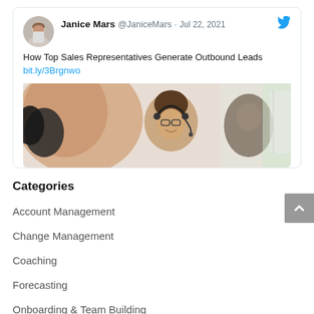[Figure (screenshot): Tweet by Janice Mars (@JaniceMars) dated Jul 22, 2021 with text 'How Top Sales Representatives Generate Outbound Leads bit.ly/3Brgnwo' and an embedded image of call center workers with headsets]
Categories
Account Management
Change Management
Coaching
Forecasting
Onboarding & Team Building
Onboarding and Team Building
Sales Careers